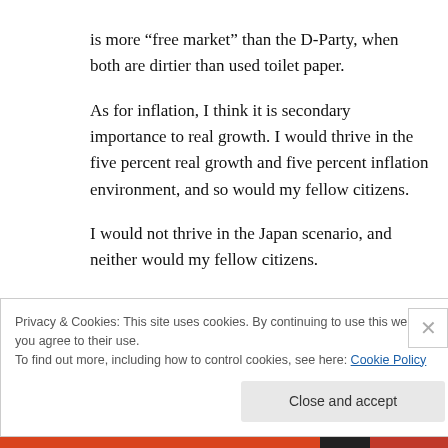is more “free market” than the D-Party, when both are dirtier than used toilet paper.
As for inflation, I think it is secondary importance to real growth. I would thrive in the five percent real growth and five percent inflation environment, and so would my fellow citizens.
I would not thrive in the Japan scenario, and neither would my fellow citizens.
Pretty simple, is it not?
Privacy & Cookies: This site uses cookies. By continuing to use this website, you agree to their use.
To find out more, including how to control cookies, see here: Cookie Policy
Close and accept